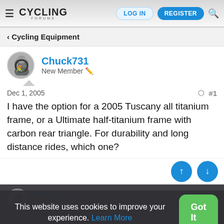CYCLING FORUMS — LOG IN | REGISTER
< Cycling Equipment
Chuck731
New Member
Dec 1, 2005  #1
I have the option for a 2005 Tuscany all titanium frame, or a Ultimate half-titanium frame with carbon rear triangle. For durability and long distance rides, which one?
Andrepaul
New Member
This website uses cookies to improve your experience. Learn More
Dec 2, 2005